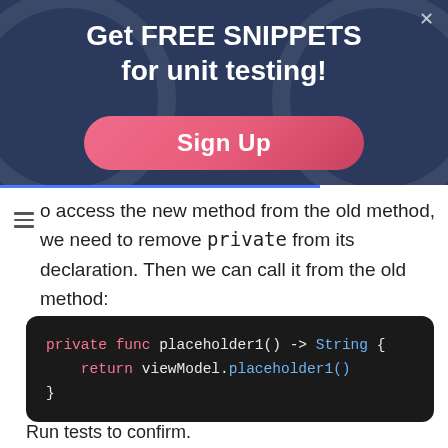[Figure (screenshot): Dark navy banner with decorative circles, title 'Get FREE SNIPPETS for unit testing!' in white bold text, and a pink rounded 'Sign Up' button. A close (×) button is in the top right corner.]
o access the new method from the old method, we need to remove private from its declaration. Then we can call it from the old method:
private func placeholder1() -> String {
    return viewModel.placeholder1()
}
Run tests to confirm.